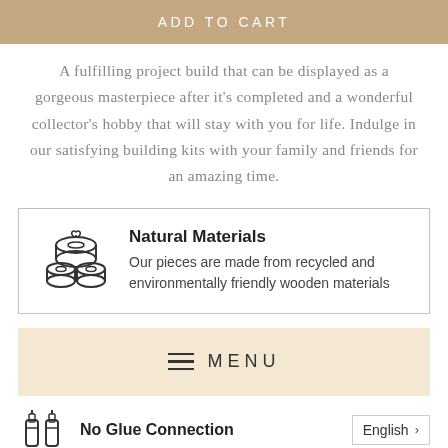ADD TO CART
A fulfilling project build that can be displayed as a gorgeous masterpiece after it's completed and a wonderful collector's hobby that will stay with you for life. Indulge in our satisfying building kits with your family and friends for an amazing time.
Natural Materials
Our pieces are made from recycled and environmentally friendly wooden materials
MENU
No Glue Connection
English